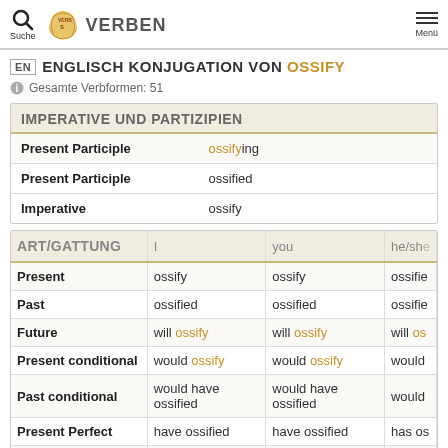Suche | VERBEN | Menü
EN ENGLISCH KONJUGATION VON OSSIFY
Gesamte Verbformen: 51
|  |  |
| --- | --- |
| Present Participle | ossifying |
| Present Participle | ossified |
| Imperative | ossify |
| ART/GATTUNG | I | you | he/she |
| --- | --- | --- | --- |
| Present | ossify | ossify | ossifie |
| Past | ossified | ossified | ossifie |
| Future | will ossify | will ossify | will os |
| Present conditional | would ossify | would ossify | would |
| Past conditional | would have ossified | would have ossified | would |
| Present Perfect | have ossified | have ossified | has os |
| Past Perfect | had ossified | had ossified | had o |
| Future Perfect | will have ossified | will have ossified | will ha |